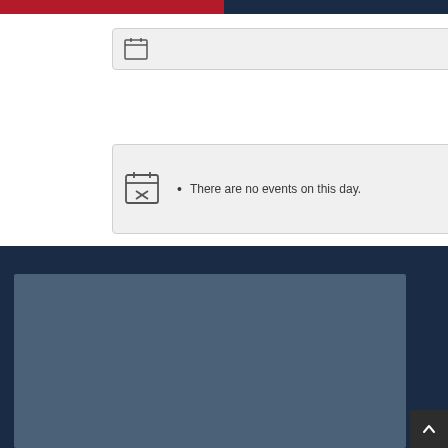[Figure (screenshot): Top navigation bar split red and dark navy blue]
[Figure (screenshot): Gray card with small calendar icon]
There are no events on this day.
View Calendar
[Figure (map): Dark navy footer section containing a muted blue-gray map embed and a back-to-top button]